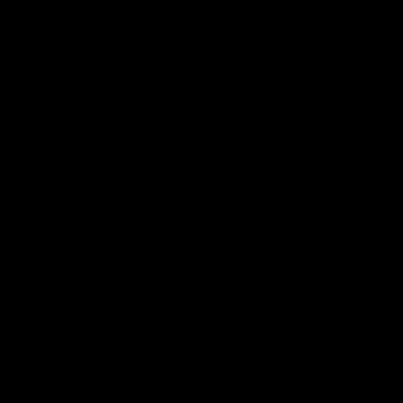[Figure (screenshot): Forum comment thread. Left side is black. Right side is gray with nested comment replies from ElectricGeck... (May 14, 2022) about Stranger things, Frank Har... (May 14, 2022) about Cleopatra, ElectricGeck... (May 14, 2022) saying I'm a fa..., then a new top-level post from notStanley (May 15, 2022, 1:37 pm).]